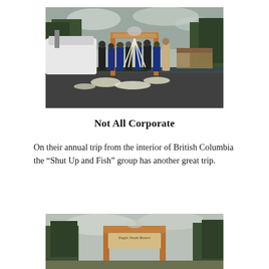[Figure (photo): Group of people standing on a dock next to a boat, posing with a large catch of halibut fish laid out on the dock. A wooden arch sign (Eagle Nook Resort) is visible behind them. Surrounded by forested hills and calm water.]
Not All Corporate
On their annual trip from the interior of British Columbia the “Shut Up and Fish” group has another great trip.
[Figure (photo): Close-up of a wooden arch sign reading 'Eagle Nook Resort' with trees in the background and an overcast sky.]